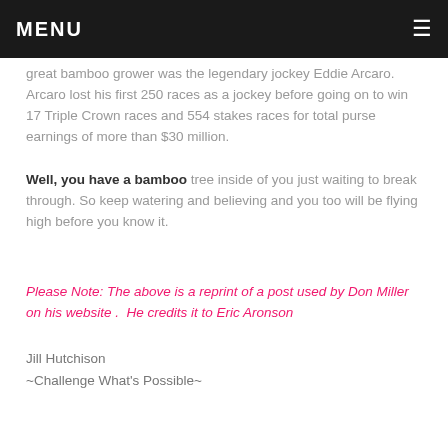MENU ☰
great bamboo grower was the legendary jockey Eddie Arcaro. Arcaro lost his first 250 races as a jockey before going on to win 17 Triple Crown races and 554 stakes races for total purse earnings of more than $30 million.
Well, you have a bamboo tree inside of you just waiting to break through. So keep watering and believing and you too will be flying high before you know it.
Please Note: The above is a reprint of a post used by Don Miller on his website .  He credits it to Eric Aronson
Jill Hutchison
~Challenge What's Possible~